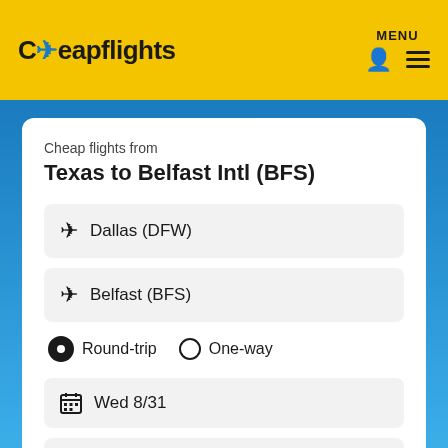Cheapflights  MENU
Cheap flights from
Texas to Belfast Intl (BFS)
Dallas (DFW)
Belfast (BFS)
Round-trip  One-way
Wed 8/31
Wed 9/7